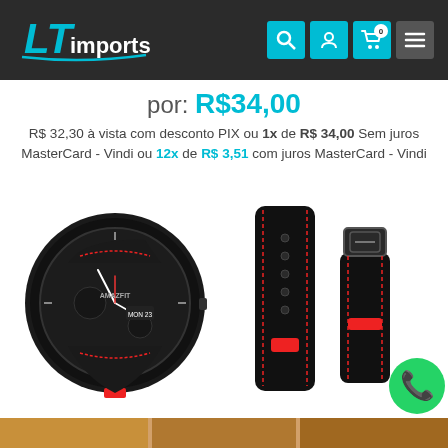[Figure (screenshot): LT Imports e-commerce website header with dark background, teal logo, and navigation icons (search, account, cart with badge 0, menu)]
por: R$34,00
R$ 32,30 à vista com desconto PIX ou 1x de R$ 34,00 Sem juros MasterCard - Vindi ou 12x de R$ 3,51 com juros MasterCard - Vindi
[Figure (photo): Amazfit smartwatch with black leather band featuring red stitching and red accent, showing MON 23 on display, alongside two separate black watch straps with red stitching and red tab, and a WhatsApp contact button]
[Figure (photo): Bottom strip showing brown leather watch strap variants]